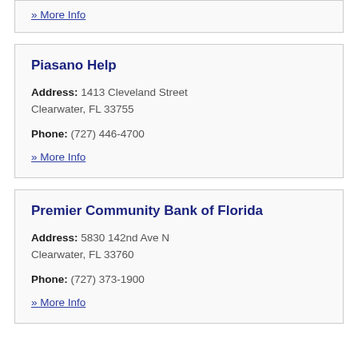» More Info
Piasano Help
Address: 1413 Cleveland Street Clearwater, FL 33755
Phone: (727) 446-4700
» More Info
Premier Community Bank of Florida
Address: 5830 142nd Ave N Clearwater, FL 33760
Phone: (727) 373-1900
» More Info